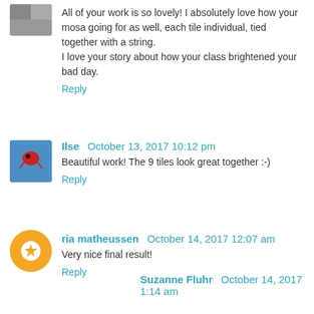All of your work is so lovely! I absolutely love how your mosa going for as well, each tile individual, tied together with a string. I love your story about how your class brightened your bad day.
Reply
Ilse  October 13, 2017 10:12 pm
Beautiful work! The 9 tiles look great together :-)
Reply
ria matheussen  October 14, 2017 12:07 am
Very nice final result!
Reply
Suzanne Fluhr  October 14, 2017 1:14 am
What a nice story. Thanks for sharing it. It improved my day. J wonderful. I haven't been doing Joey's challenges. Maybe it's :-)
Reply